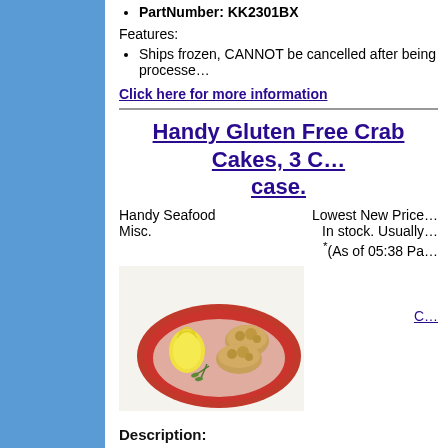PartNumber: KK2301BX
Features:
Ships frozen, CANNOT be cancelled after being processed
Click here for more information
Handy Gluten Free Crab Cakes, 3 O... case.
Handy Seafood
Misc.
Lowest New Price
In stock. Usually
*(As of 05:38 Pa
[Figure (photo): Crab cakes served on a red decorative plate with lemon garnish]
C...
Description:
Handy Gluten Free Crab Cakes, 3 Ounce -- 24 per case.
Manufacturer: Handy Seafood